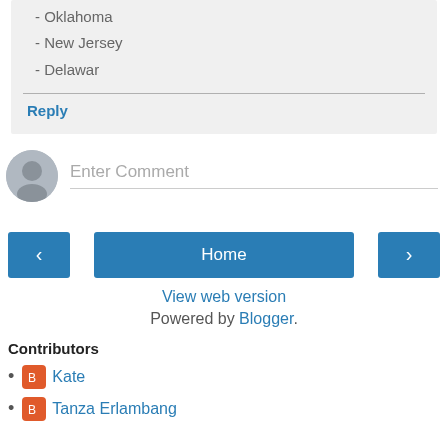- Oklahoma
- New Jersey
- Delawar
Reply
Enter Comment
Home
View web version
Powered by Blogger.
Contributors
Kate
Tanza Erlambang